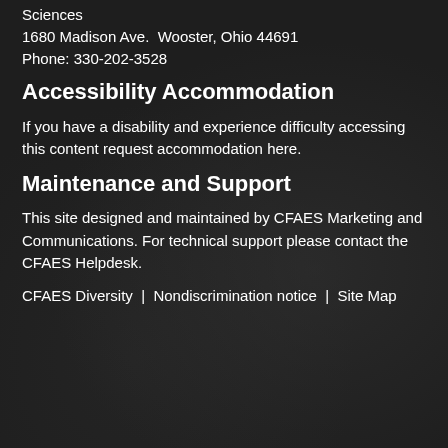College of Food, Agricultural, and Environmental Sciences
1680 Madison Ave.  Wooster, Ohio 44691
Phone: 330-202-3528
Accessibility Accommodation
If you have a disability and experience difficulty accessing this content request accommodation here.
Maintenance and Support
This site designed and maintained by CFAES Marketing and Communications. For technical support please contact the CFAES Helpdesk.
CFAES Diversity  |  Nondiscrimination notice  |  Site Map